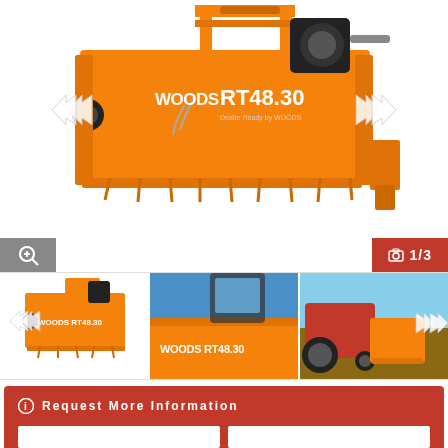[Figure (photo): Orange Woods RT48.30 rotary tiller implement shown from a 3/4 front angle on white background. Product name 'WOODS RT48.30' visible on the side. Navigation arrows on left and right. Image counter shows 1/3 in red bar at bottom right. Zoom button (magnifying glass) in grey bar at bottom left.]
[Figure (photo): Thumbnail 1: Orange Woods RT48.30 rotary tiller, same orange implement from front-left angle on white background with navigation arrow overlay.]
[Figure (photo): Thumbnail 2: Close-up of orange Woods RT48.30 branding/decal on the tiller housing, blue sky background.]
[Figure (photo): Thumbnail 3: Red tractor with orange Woods RT48.30 rotary tiller attached, in use in a field/outdoor setting.]
Request More Information